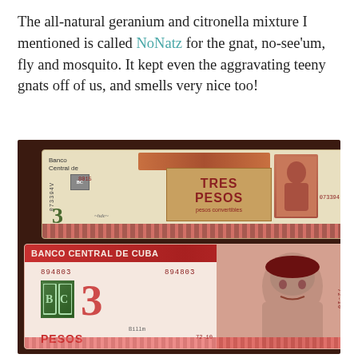The all-natural geranium and citronella mixture I mentioned is called NoNatz for the gnat, no-see'um, fly and mosquito. It kept even the aggravating teeny gnats off of us, and smells very nice too!
[Figure (photo): Photo of two Cuban banknotes on a dark wooden surface. The top note is a Tres Pesos convertibles (Banco Central de) note showing '3' in green, serial number 073394, with a figure on the right side. The bottom note is a Banco Central de Cuba 3 Pesos note (red) showing serial number 894803 on both sides, featuring Che Guevara's portrait on the right.]